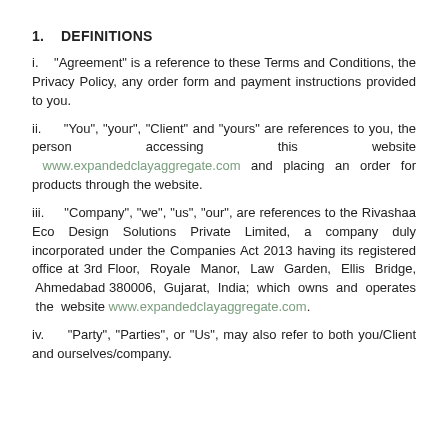1.    DEFINITIONS
i.    "Agreement" is a reference to these Terms and Conditions, the Privacy Policy, any order form and payment instructions provided to you.
ii.      “You”, “your”, “Client” and “yours” are references to you, the person  accessing  this  website  www.expandedclayaggregate.com and placing an order for products through the website.
iii.      “Company”, “we”, “us”, “our”, are references to the Rivashaa Eco Design Solutions Private Limited, a company duly incorporated under the Companies Act 2013 having its registered office at 3rd Floor,  Royale  Manor,  Law  Garden,  Ellis  Bridge,  Ahmedabad 380006,  Gujarat,  India;  which  owns  and  operates  the  website www.expandedclayaggregate.com.
iv.      “Party”, “Parties”, or “Us”, may also refer to both you/Client and ourselves/company.